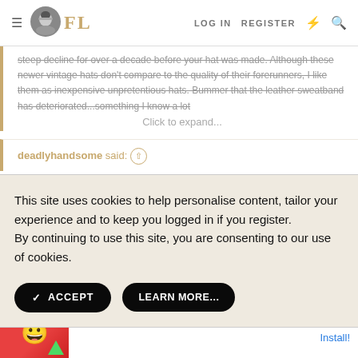FL | LOG IN | REGISTER
steep decline for over a decade before your hat was made. Although these newer vintage hats don't compare to the quality of their forerunners, I like them as inexpensive unpretentious hats. Bummer that the leather sweatband has deteriorated...something I know a lot
Click to expand...
deadlyhandsome said: ↑
This site uses cookies to help personalise content, tailor your experience and to keep you logged in if you register. By continuing to use this site, you are consenting to our use of cookies.
ACCEPT
LEARN MORE...
that the leather sweatband has deteriorated...something I know a lot
Click to expand...
Thanks just posted of a lot
[Figure (other): BitLife - Life Simulator advertisement banner with colorful cartoon graphics and emoji character]